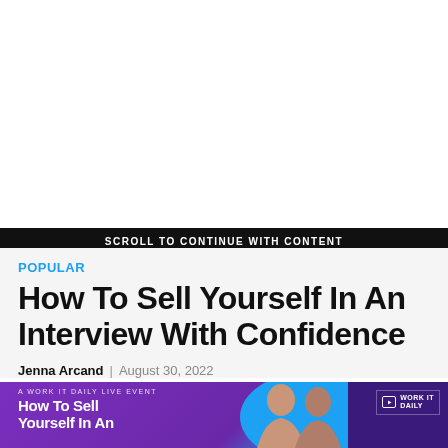SCROLL TO CONTINUE WITH CONTENT
POPULAR
How To Sell Yourself In An Interview With Confidence
Jenna Arcand | August 30, 2022
[Figure (illustration): Promotional banner for a Work It Daily live event titled 'How To Sell Yourself In An' with purple and blue gradient background, two women visible on the right side, and Work It Daily logo in top-right corner.]